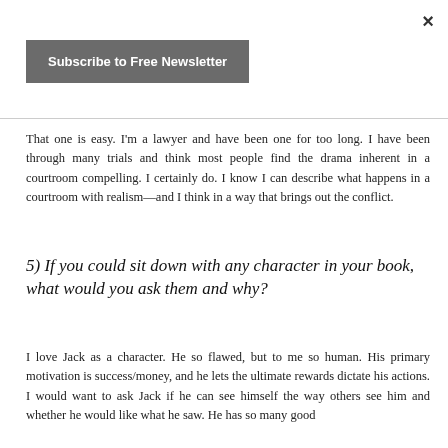×
Subscribe to Free Newsletter
That one is easy.  I'm a lawyer and have been one for too long.  I have been through many trials and think most people find the drama inherent in a courtroom compelling.  I certainly do.  I know I can describe what happens in a courtroom with realism—and I think in a way that brings out the conflict.
5) If you could sit down with any character in your book, what would you ask them and why?
I love Jack as a character.  He so flawed, but to me so human.  His primary motivation is success/money, and he lets the ultimate rewards dictate his actions.  I would want to ask Jack if he can see himself the way others see him and whether he would like what he saw.  He has so many good